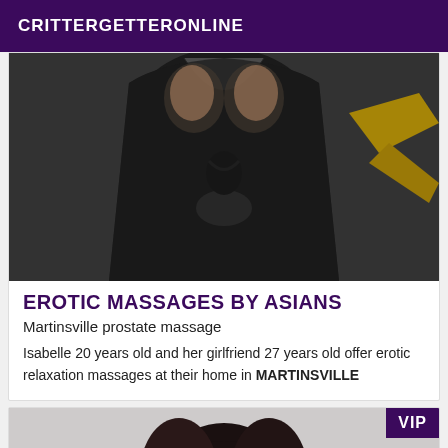CRITTERGETTERONLINE
[Figure (photo): Person wearing a black dress with cutout detail, partial torso view, yellow object visible on right side]
EROTIC MASSAGES BY ASIANS
Martinsville prostate massage
Isabelle 20 years old and her girlfriend 27 years old offer erotic relaxation massages at their home in MARTINSVILLE
[Figure (photo): Person with dark hair, partial head view, light background, VIP badge in top right corner]